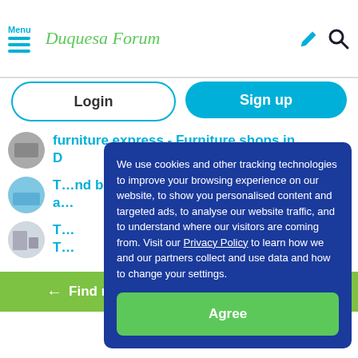Menu | Duquesa Forum
Login | Sign up
furniture express - Furniture shops in D...
T... and bed a...
T... T... Duqu...
We use cookies and other tracking technologies to improve your browsing experience on our website, to show you personalised content and targeted ads, to analyse our website traffic, and to understand where our visitors are coming from. Visit our Privacy Policy to learn how we and our partners collect and use data and how to change your settings.
Agree
← Find more businesses in Duquesa →